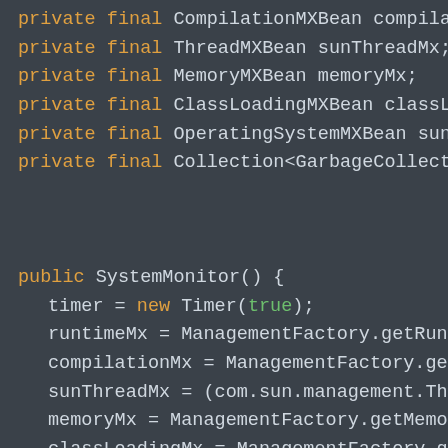[Figure (screenshot): Java source code screenshot showing class field declarations and a constructor method named SystemMonitor. Fields include compilationMx, sunThreadMx, memoryMx, classLoadingMx, sunOsMx, and a Collection of GarbageCollectorMXBean. The constructor initializes timer, runtimeMx, compilationMx, sunThreadMx, memoryMx, classLoadingMx, sunOsMx, and garbageCollectors via ManagementFactory and com.sun.management casts.]